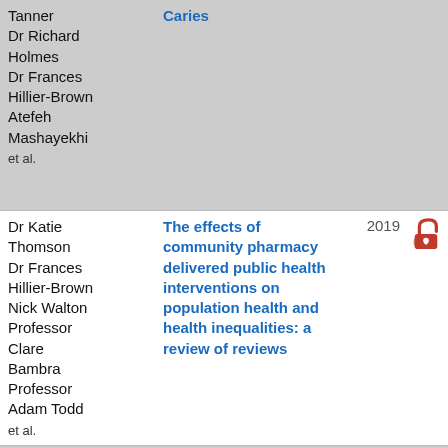| Authors | Title | Year |  |
| --- | --- | --- | --- |
| Tanner
Dr Richard Holmes
Dr Frances Hillier-Brown
Atefeh Mashayekhi
et al. | Caries |  |  |
| Dr Katie Thomson
Dr Frances Hillier-Brown
Nick Walton
Professor Clare Bambra
Professor Adam Todd
et al. | The effects of community pharmacy delivered public health interventions on population health and health inequalities: a review of reviews | 2019 | open-access |
| Dr Frances | The effects of social | 2019 | open-access |